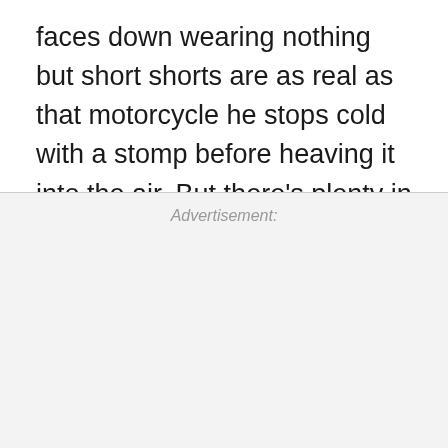faces down wearing nothing but short shorts are as real as that motorcycle he stops cold with a stomp before heaving it into the air. But there's plenty in the movie that can't be faked, such as the stars' unreal movements in the battle scenes.
Advertisement: